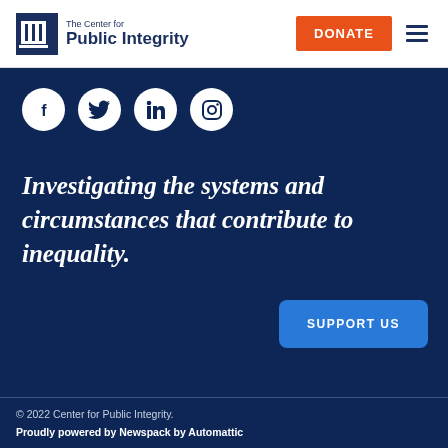The Center for Public Integrity | DONATE
[Figure (logo): The Center for Public Integrity logo with column icon and text]
[Figure (infographic): Social media icons: Facebook, Twitter, LinkedIn, Instagram — white circles on dark navy background]
Investigating the systems and circumstances that contribute to inequality.
SUPPORT US
© 2022 Center for Public Integrity. Proudly powered by Newspack by Automattic